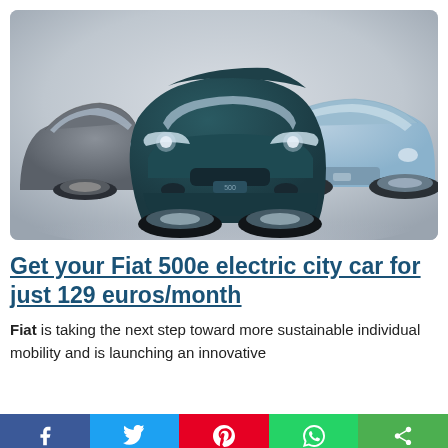[Figure (photo): Three Fiat 500e electric cars displayed on a grey background — a dark grey one on the left, a dark teal/green one in the center facing forward, and a light blue one on the right shown at a three-quarter angle.]
Get your Fiat 500e electric city car for just 129 euros/month
Fiat is taking the next step toward more sustainable individual mobility and is launching an innovative
f  twitter  pinterest  whatsapp  share